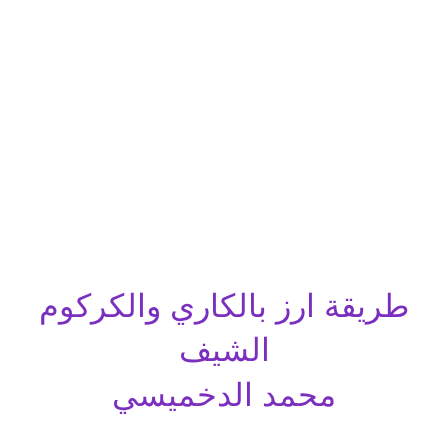طريقة ارز بالكاري والكركوم الشيف محمد الدخميسي